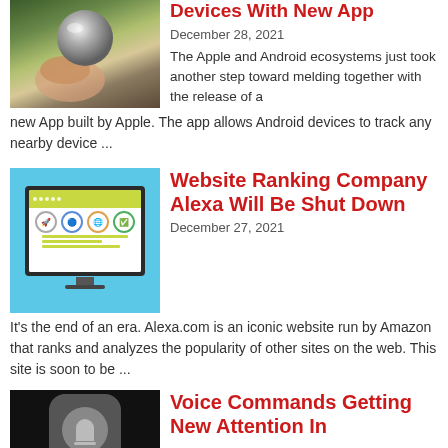[Figure (photo): Hand holding a metallic silver ball (Apple AirTag or similar tracking device) with blurred green background]
Devices With New App
December 28, 2021
The Apple and Android ecosystems just took another step toward melding together with the release of a new App built by Apple. The app allows Android devices to track any nearby device ...
[Figure (illustration): Illustration of a computer monitor displaying a website with icons and green bars on a light blue background]
Website Ranking Company Alexa Will Be Shut Down
December 27, 2021
It's the end of an era.  Alexa.com is an iconic website run by Amazon that ranks and analyzes the popularity of other sites on the web. This site is soon to be ...
[Figure (photo): Dark background with a rounded square icon (voice assistant device)]
Voice Commands Getting New Attention In